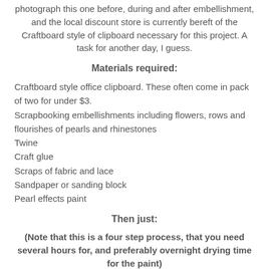photograph this one before, during and after embellishment, and the local discount store is currently bereft of the Craftboard style of clipboard necessary for this project. A task for another day, I guess.
Materials required:
Craftboard style office clipboard. These often come in pack of two for under $3.
Scrapbooking embellishments including flowers, rows and flourishes of pearls and rhinestones
Twine
Craft glue
Scraps of fabric and lace
Sandpaper or sanding block
Pearl effects paint
Then just:
(Note that this is a four step process, that you need several hours for, and preferably overnight drying time for the paint)